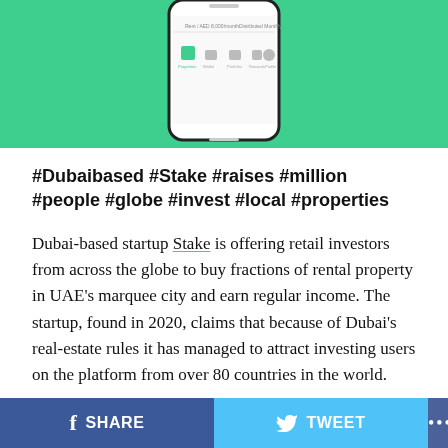[Figure (screenshot): Phone mockup showing Stake app interface on a green background]
#Dubaibased #Stake #raises #million #people #globe #invest #local #properties
Dubai-based startup Stake is offering retail investors from across the globe to buy fractions of rental property in UAE's marquee city and earn regular income. The startup, found in 2020, claims that because of Dubai's real-estate rules it has managed to attract investing users on the platform from over 80 countries in the world.
The company, founded by Manar Mahmassani, Rami Tabbara, and Ricardo Brizido in 2020, has raised $8 million in a pre-Series A round from investors like BY...
SHARE   TWEET   ...